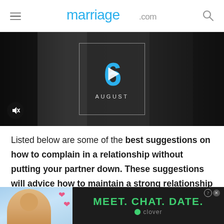marriage.com
[Figure (screenshot): Video thumbnail showing couples in dark/grayscale with a calendar date overlay showing '6 AUGUST' with a play button, and a mute button in bottom left corner]
Listed below are some of the best suggestions on how to complain in a relationship without putting your partner down. These suggestions will advice how to maintain a strong relationship even when you're expressing your disagreement to you...
[Figure (photo): Advertisement banner: Clover dating app ad reading 'MEET. CHAT. DATE.' with photo of woman and heart emojis on left side]